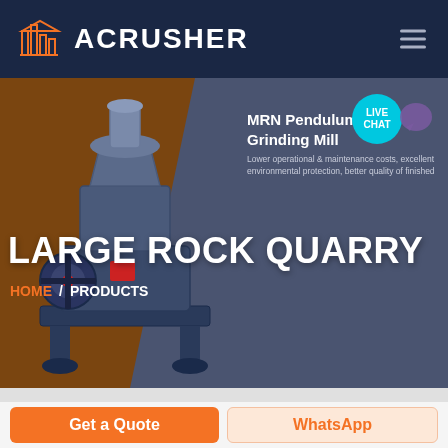ACRUSHER
[Figure (screenshot): Website screenshot showing ACRUSHER brand header with dark navy background, orange building logo icon, hamburger menu, and a hero section with a large industrial grinding mill machine on a brown/amber background on the left and gray-blue on the right. Text overlays include 'LARGE ROCK QUARRY' in large white bold text, breadcrumb 'HOME / PRODUCTS', a product card showing 'MRN Pendulum Roller Grinding Mill' with description text, and a 'LIVE CHAT' teal bubble in the upper right.]
MRN Pendulum Roller Grinding Mill
Lower operational & maintenance costs, excellent environmental protection, better quality of finished
LARGE ROCK QUARRY
HOME / PRODUCTS
Get a Quote
WhatsApp